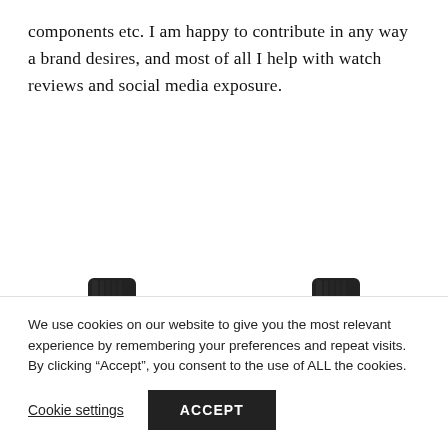components etc. I am happy to contribute in any way a brand desires, and most of all I help with watch reviews and social media exposure.
[Figure (photo): Two chronograph watches side by side on black NATO straps — one with a dark/grey dial and orange accents, one with a white dial and red accents. Both have angular hexagonal-style cases.]
We use cookies on our website to give you the most relevant experience by remembering your preferences and repeat visits. By clicking “Accept”, you consent to the use of ALL the cookies.
Cookie settings   ACCEPT